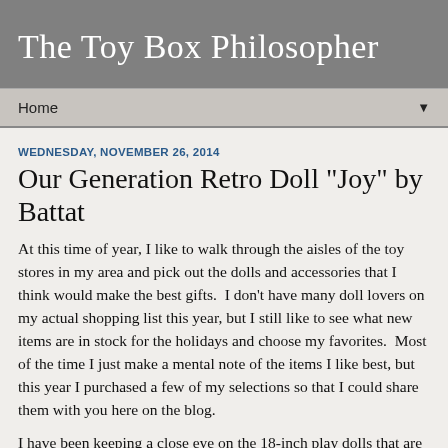The Toy Box Philosopher
Home ▼
WEDNESDAY, NOVEMBER 26, 2014
Our Generation Retro Doll "Joy" by Battat
At this time of year, I like to walk through the aisles of the toy stores in my area and pick out the dolls and accessories that I think would make the best gifts.  I don't have many doll lovers on my actual shopping list this year, but I still like to see what new items are in stock for the holidays and choose my favorites.  Most of the time I just make a mental note of the items I like best, but this year I purchased a few of my selections so that I could share them with you here on the blog.
I have been keeping a close eye on the 18-inch play dolls that are available near me (Journey Girls, My Life As and Our Generation)